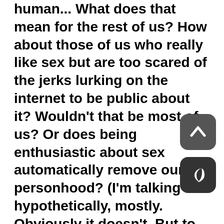human... What does that mean for the rest of us? How about those of us who really like sex but are too scared of the jerks lurking on the internet to be public about it? Wouldn't that be most of us? Or does being enthusiastic about sex automatically remove our personhood? (I'm talking hypothetically, mostly. Obviously it doesn't. But to the average internet troll, that seems to be the idea.)
And that made me think... what about, like, robots, you guys? Or highly intelligent animals? What about non-humans who are really people? If you make a robot, or a cyborg (which is part